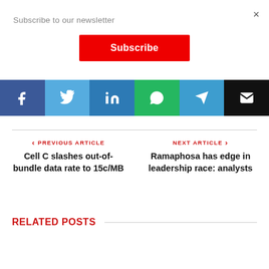Subscribe to our newsletter
×
Subscribe
[Figure (infographic): Social share buttons row: Facebook, Twitter, LinkedIn, WhatsApp, Telegram, Email]
PREVIOUS ARTICLE
Cell C slashes out-of-bundle data rate to 15c/MB
NEXT ARTICLE
Ramaphosa has edge in leadership race: analysts
RELATED POSTS